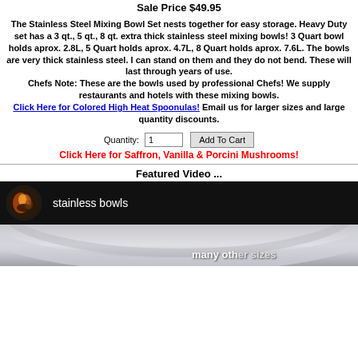Sale Price $49.95
The Stainless Steel Mixing Bowl Set nests together for easy storage. Heavy Duty set has a 3 qt., 5 qt., 8 qt. extra thick stainless steel mixing bowls! 3 Quart bowl holds aprox. 2.8L, 5 Quart holds aprox. 4.7L, 8 Quart holds aprox. 7.6L. The bowls are very thick stainless steel. I can stand on them and they do not bend. These will last through years of use. Chefs Note: These are the bowls used by professional Chefs! We supply restaurants and hotels with these mixing bowls. Click Here for Colored High Heat Spoonulas! Email us for larger sizes and large quantity discounts.
Quantity: 1 [Add To Cart button]
Click Here for Saffron, Vanilla & Porcini Mushrooms!
Featured Video ...
[Figure (screenshot): Video thumbnail showing stainless bowls with circular thumbnail image and text 'stainless bowls' on dark background, with a blurred bowl image below and partial text 'many other sizes']